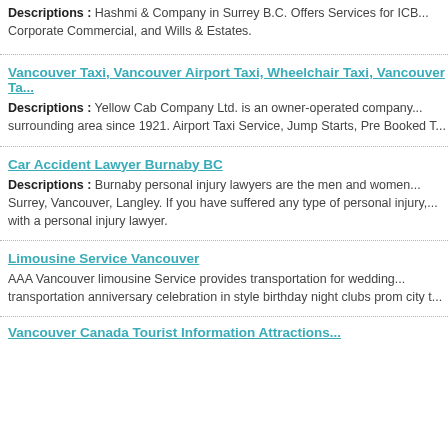Descriptions : Hashmi & Company in Surrey B.C. Offers Services for ICB... Corporate Commercial, and Wills & Estates.
Vancouver Taxi, Vancouver Airport Taxi, Wheelchair Taxi, Vancouver Ta...
Descriptions : Yellow Cab Company Ltd. is an owner-operated company... surrounding area since 1921. Airport Taxi Service, Jump Starts, Pre Booked T...
Car Accident Lawyer Burnaby BC
Descriptions : Burnaby personal injury lawyers are the men and women... Surrey, Vancouver, Langley. If you have suffered any type of personal injury,... with a personal injury lawyer.
Limousine Service Vancouver
AAA Vancouver limousine Service provides transportation for wedding... transportation anniversary celebration in style birthday night clubs prom city t...
Vancouver Canada Tourist Information Attractions...